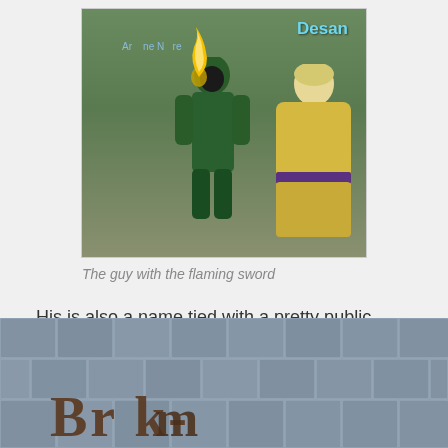[Figure (screenshot): Video game screenshot showing a character in a green hooded outfit holding a flaming torch/sword, standing next to a character in yellow robes. Text overlay shows 'Desan' in blue and another name partially visible.]
The guy with the flaming sword
His is also a name tied with a pretty public meltdown of vision versus follow-through.
[Figure (screenshot): Video game screenshot showing a stone wall/brick texture with large stylized text that appears to read a game title or logo.]